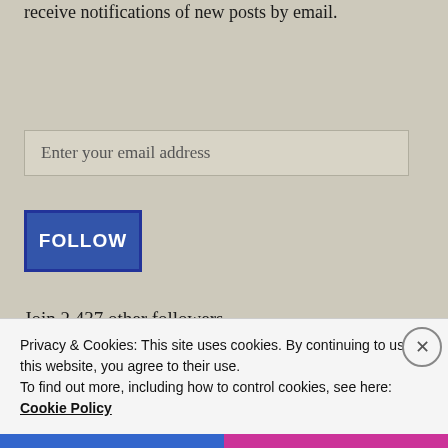receive notifications of new posts by email.
Enter your email address
FOLLOW
Join 2,437 other followers
Archives
Privacy & Cookies: This site uses cookies. By continuing to use this website, you agree to their use.
To find out more, including how to control cookies, see here:
Cookie Policy
Close and accept